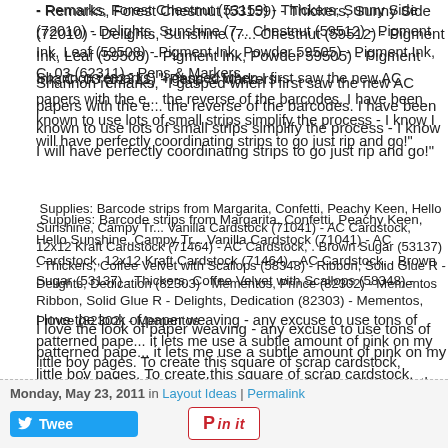- Remarks, Forest Chestnut (53159) - Thickers, Sunny Side (72010) - Delights, Sunshine (7... Chestnut (59512) - Pigment Ink, Leaf (59508) - Pigment Ink, Powder 59505) - Pigment Ink, C .03 (62311) - Pens & Markers
Shannon remarks, "I gasped when I first saw the new AC papers with the e... the reverse of the barcodes. I have been known to use lots of small strips simplify the process - I know I will have perfectly coordinating strips to go just rip and go!"
Supplies: Barcode strips from Margarita, Confetti, Peachy Keen, Hello Sunshine, Campy Tr... Vanilla Cardstock (71041) - AC Cardstock, 12x12 Kraft Cardstock (71464) - AC Cardstock, . Brown Sugar (53137) - Thickers, Coffee Velvet with Scallops (58348) - Ribbon, Solid Glue R - Delights, Dedication (82303) - Mementos, Prince (82302) - Mementos
I love the look of paper weaving - any excuse to use tons of patterned pape... it lets me use a subtle amount of pink on my little boy pages. To create this square of scrap cardstock, weaved my favorite barcode strips across it, ther a heart on the back, trimmed around it, and glued it to my background cards cardstock - I love the bit of dimension it adds!
Come back tomorrow for a step-by-step photo tutorial using barcode strips t
Monday, May 23, 2011 in Layout Ideas | Permalink